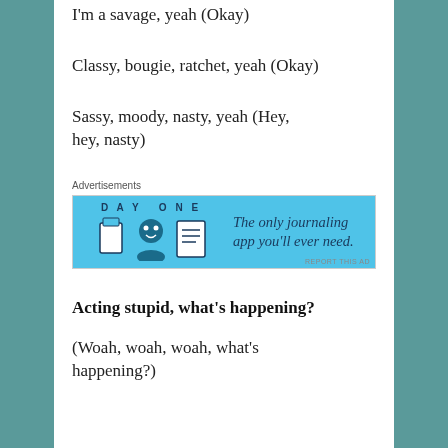I'm a savage, yeah (Okay)
Classy, bougie, ratchet, yeah (Okay)
Sassy, moody, nasty, yeah (Hey, hey, nasty)
Advertisements
[Figure (other): Day One journaling app advertisement banner with blue background, icons of a door, person, and notebook, and text 'The only journaling app you'll ever need.']
Acting stupid, what's happening?
(Woah, woah, woah, what's happening?)